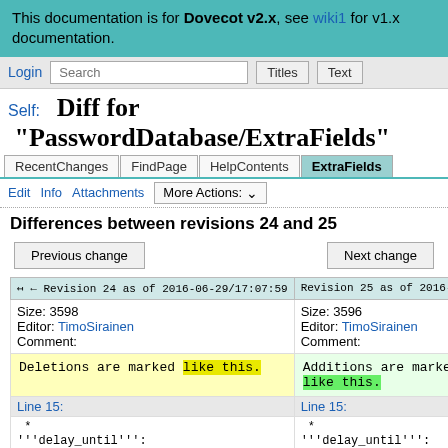This documentation is for Dovecot v2.x, see wiki1 for v1.x documentation.
Login | Search | Titles | Text
Self: Diff for "PasswordDatabase/ExtraFields"
RecentChanges | FindPage | HelpContents | ExtraFields
Edit | Info | Attachments | More Actions:
Differences between revisions 24 and 25
Previous change | Next change
| Revision 24 as of 2016-06-29/17:07:59 | Revision 25 as of 2016-06- |
| --- | --- |
| Size: 3598
Editor: TimoSirainen
Comment: | Size: 3596
Editor: TimoSirainen
Comment: |
| Deletions are marked like this. | Additions are marked like this. |
| Line 15: | Line 15: |
| *
'''delay_until''':
Delay login until | *
'''delay_until''':
Delay login until |